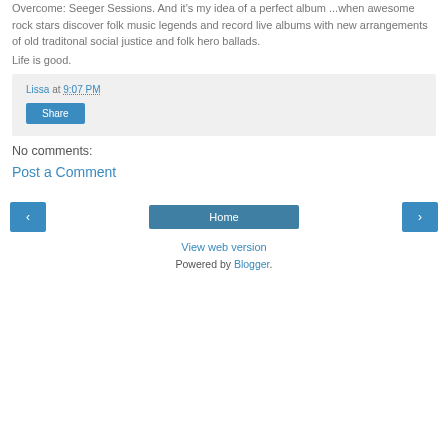Overcome: Seeger Sessions. And it's my idea of a perfect album ...when awesome rock stars discover folk music legends and record live albums with new arrangements of old traditonal social justice and folk hero ballads.
Life is good.
Lissa at 9:07 PM
Share
No comments:
Post a Comment
Home
View web version
Powered by Blogger.